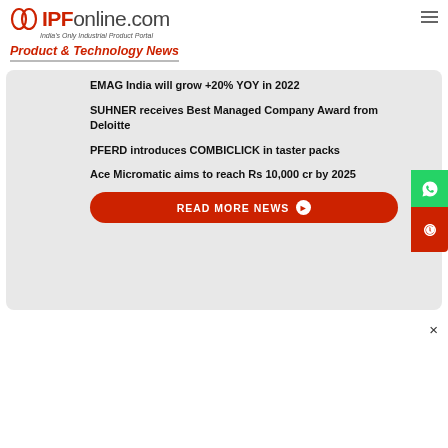IPFonline.com — India's Only Industrial Product Portal
Product & Technology News
EMAG India will grow +20% YOY in 2022
SUHNER receives Best Managed Company Award from Deloitte
PFERD introduces COMBICLICK in taster packs
Ace Micromatic aims to reach Rs 10,000 cr by 2025
READ MORE NEWS →